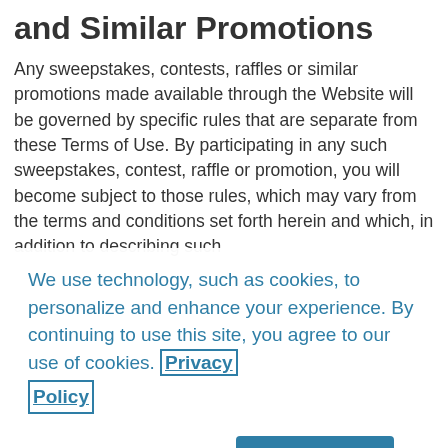and Similar Promotions
Any sweepstakes, contests, raffles or similar promotions made available through the Website will be governed by specific rules that are separate from these Terms of Use. By participating in any such sweepstakes, contest, raffle or promotion, you will become subject to those rules, which may vary from the terms and conditions set forth herein and which, in addition to describing such
We use technology, such as cookies, to personalize and enhance your experience. By continuing to use this site, you agree to our use of cookies. Privacy Policy
Cookies Settings
Got It